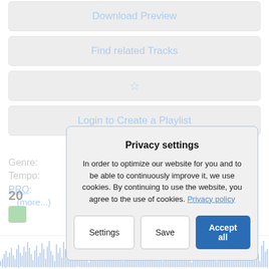[Figure (screenshot): Button: Download Preview]
[Figure (screenshot): Button: Find related Tracks]
[Figure (screenshot): Button: star icon (favorite)]
[Figure (screenshot): Button: Login to Create a Playlist]
Genre:	Baroque
Tempo:	120 BPM, moderately fast
PRO: Completely Royalty Free Music
(more...)
20
[Figure (screenshot): Privacy settings modal dialog with Settings, Save, Accept all buttons]
[Figure (other): Audio waveform at the bottom of the page]